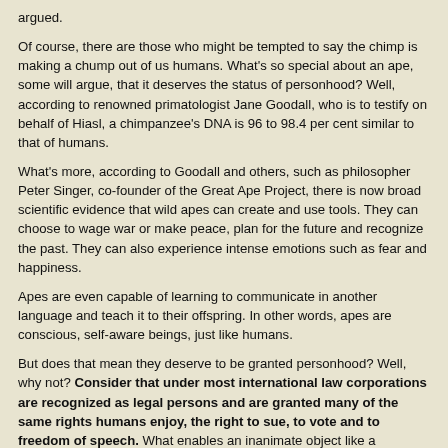argued.
Of course, there are those who might be tempted to say the chimp is making a chump out of us humans. What's so special about an ape, some will argue, that it deserves the status of personhood? Well, according to renowned primatologist Jane Goodall, who is to testify on behalf of Hiasl, a chimpanzee's DNA is 96 to 98.4 per cent similar to that of humans.
What's more, according to Goodall and others, such as philosopher Peter Singer, co-founder of the Great Ape Project, there is now broad scientific evidence that wild apes can create and use tools. They can choose to wage war or make peace, plan for the future and recognize the past. They can also experience intense emotions such as fear and happiness.
Apes are even capable of learning to communicate in another language and teach it to their offspring. In other words, apes are conscious, self-aware beings, just like humans.
But does that mean they deserve to be granted personhood? Well, why not? Consider that under most international law corporations are recognized as legal persons and are granted many of the same rights humans enjoy, the right to sue, to vote and to freedom of speech. What enables an inanimate object like a corporation to enjoy personhood is a nicety called a legal fiction.
A legal fiction is something assumed in law to be fact, irrespective of the truth or accuracy of that assumption. Corporate personhood is recognized the world over, so why not ape personhood?
More than 2,000 years after Aristotle declared that Mother Nature had